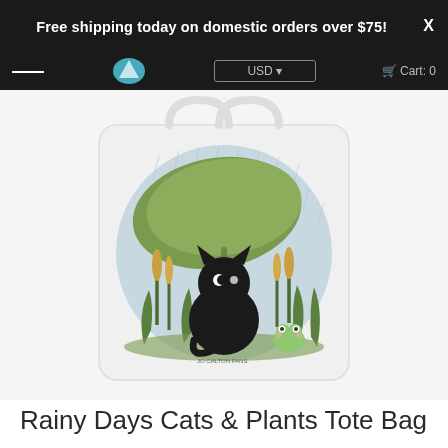Free shipping today on domestic orders over $75!   X
[Figure (photo): A white tote bag featuring an illustration of a black cat sitting under a large green leaf shelter in a rainy scene with cattails, green plants, and a small frog. The illustration is circular on a light blue-grey background.]
Rainy Days Cats & Plants Tote Bag